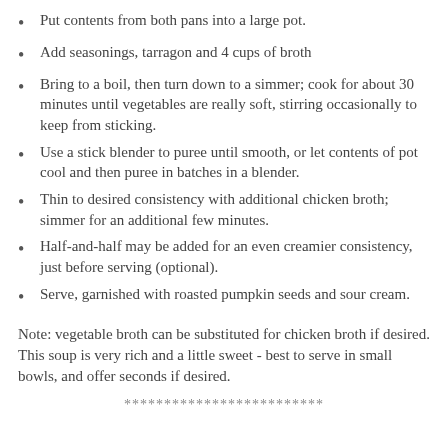Put contents from both pans into a large pot.
Add seasonings, tarragon and 4 cups of broth
Bring to a boil, then turn down to a simmer; cook for about 30 minutes until vegetables are really soft, stirring occasionally to keep from sticking.
Use a stick blender to puree until smooth, or let contents of pot cool and then puree in batches in a blender.
Thin to desired consistency with additional chicken broth; simmer for an additional few minutes.
Half-and-half may be added for an even creamier consistency, just before serving (optional).
Serve, garnished with roasted pumpkin seeds and sour cream.
Note: vegetable broth can be substituted for chicken broth if desired. This soup is very rich and a little sweet - best to serve in small bowls, and offer seconds if desired.
*************************